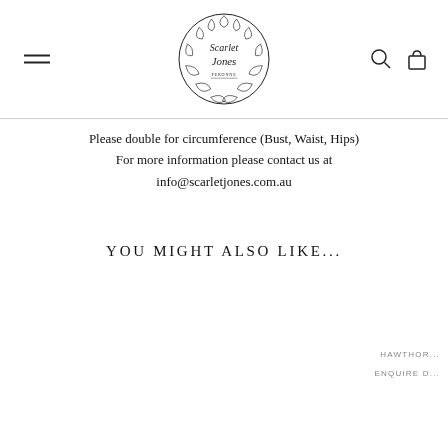Scarlet Jones [logo with navigation icons]
Please double for circumference (Bust, Waist, Hips)
For more information please contact us at
info@scarletjones.com.au
YOU MIGHT ALSO LIKE...
HAWTHOR...
ENQUIRE D...